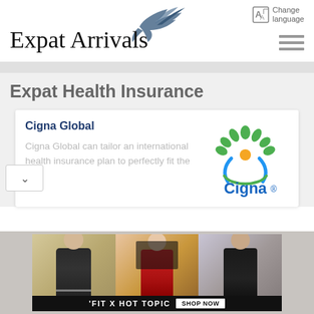[Figure (logo): Expat Arrivals logo with bird/swallow illustration and text 'Expat Arrivals' in serif font]
Change language
Expat Health Insurance
Cigna Global
Cigna Global can tailor an international health insurance plan to perfectly fit the
[Figure (logo): Cigna logo with green tree and orange circle figure, blue text 'Cigna.']
[Figure (photo): Advertisement banner showing three young people - a male musician, a female, and a male - with text 'FIT X HOT TOPIC' and 'SHOP NOW' button]